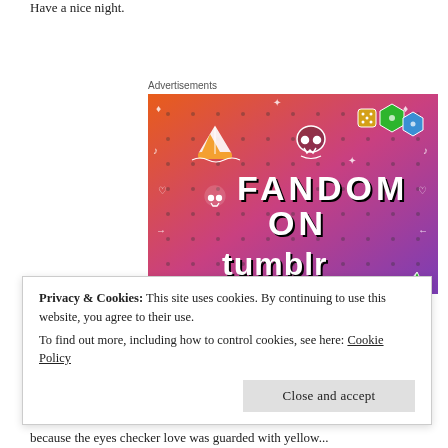Have a nice night.
Advertisements
[Figure (illustration): Colorful advertisement for 'Fandom on tumblr' with gradient orange-to-purple background, doodle icons (sailboat, skull, dice, music notes, arrows), and bold white text reading FANDOM ON tumblr]
Privacy & Cookies: This site uses cookies. By continuing to use this website, you agree to their use.
To find out more, including how to control cookies, see here:
Cookie Policy
Close and accept
because the eyes checker love was guarded with yellow...